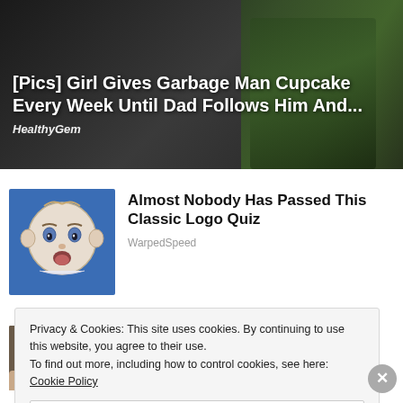[Figure (photo): Top banner image of a girl and garbage man, dark background with nature/outdoor setting]
[Pics] Girl Gives Garbage Man Cupcake Every Week Until Dad Follows Him And...
HealthyGem
[Figure (photo): Thumbnail of a baby face illustration on blue background for the logo quiz article]
Almost Nobody Has Passed This Classic Logo Quiz
WarpedSpeed
[Figure (photo): Thumbnail of a plug closeup image showing two holes]
[Pics] Plugs Always Have These Two Holes, Here's Why
Livestly
Privacy & Cookies: This site uses cookies. By continuing to use this website, you agree to their use.
To find out more, including how to control cookies, see here: Cookie Policy
Close and accept